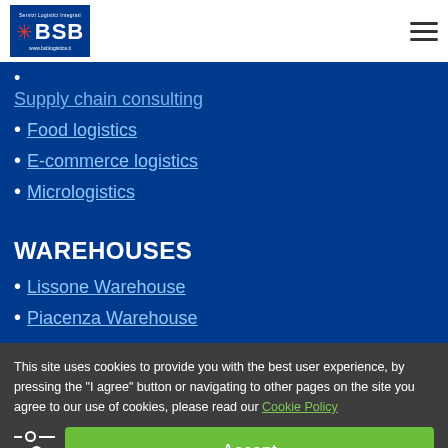BSB Logistica - www.bsblogistica.it
Supply chain consulting (partial, clipped)
Food logistics
E-commerce logistics
Micrologistics
WAREHOUSES
Lissone Warehouse
Piacenza Warehouse
This site uses cookies to provide you with the best user experience, by pressing the "I agree" button or navigating to other pages on the site you agree to our use of cookies, please read our Cookie Policy
Accept